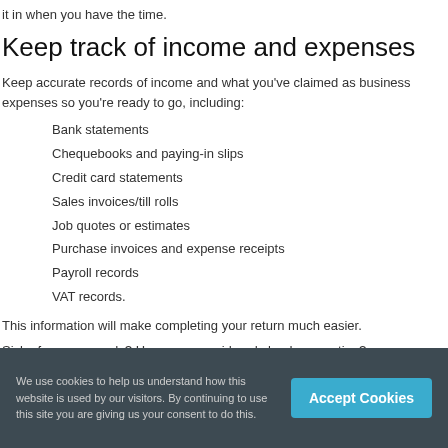it in when you have the time.
Keep track of income and expenses
Keep accurate records of income and what you've claimed as business expenses so you're ready to go, including:
Bank statements
Chequebooks and paying-in slips
Credit card statements
Sales invoices/till rolls
Job quotes or estimates
Purchase invoices and expense receipts
Payroll records
VAT records.
This information will make completing your return much easier.
Sick of paper records? Have you considered cloud accounting?
We use cookies to help us understand how this website is used by our visitors. By continuing to use this site you are giving us your consent to do this.